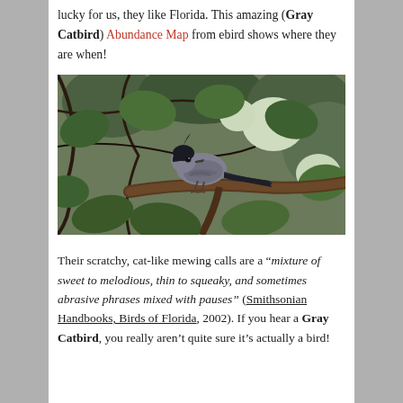lucky for us, they like Florida. This amazing (Gray Catbird) Abundance Map from ebird shows where they are when!
[Figure (photo): A gray catbird perched on a branch surrounded by green leaves and vines. The bird is gray with a black cap, facing right, with a long dark tail.]
Their scratchy, cat-like mewing calls are a "mixture of sweet to melodious, thin to squeaky, and sometimes abrasive phrases mixed with pauses" (Smithsonian Handbooks, Birds of Florida, 2002). If you hear a Gray Catbird, you really aren't quite sure it's actually a bird!